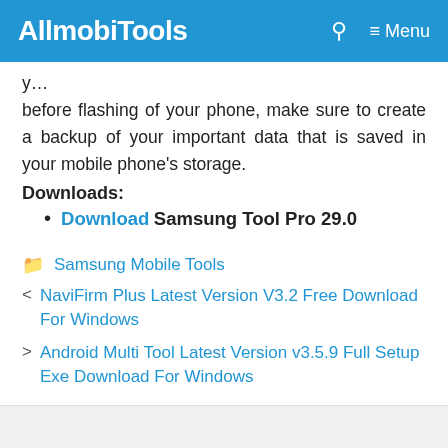AllmobiTools  🔍  ≡ Menu
y... before flashing of your phone, make sure to create a backup of your important data that is saved in your mobile phone's storage.
Downloads:
Download Samsung Tool Pro 29.0
Samsung Mobile Tools
< NaviFirm Plus Latest Version V3.2 Free Download For Windows
> Android Multi Tool Latest Version v3.5.9 Full Setup Exe Download For Windows